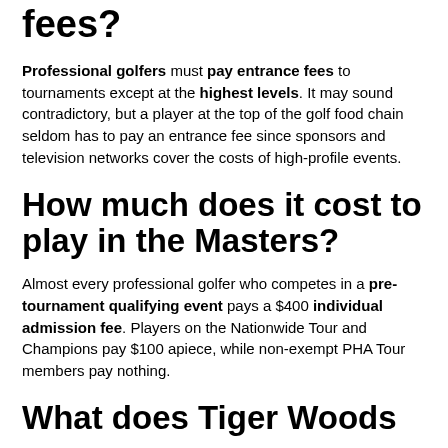fees?
Professional golfers must pay entrance fees to tournaments except at the highest levels. It may sound contradictory, but a player at the top of the golf food chain seldom has to pay an entrance fee since sponsors and television networks cover the costs of high-profile events.
How much does it cost to play in the Masters?
Almost every professional golfer who competes in a pre-tournament qualifying event pays a $400 individual admission fee. Players on the Nationwide Tour and Champions pay $100 apiece, while non-exempt PHA Tour members pay nothing.
What does Tiger Woods